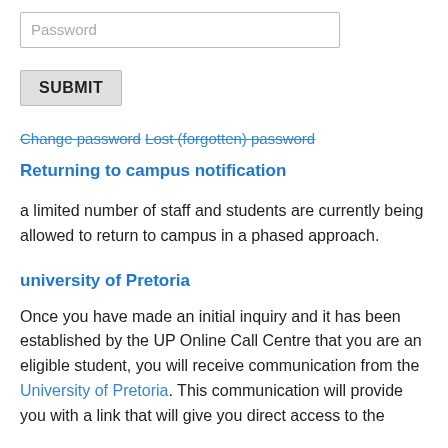[Figure (screenshot): Password input field with placeholder text 'Password']
[Figure (screenshot): SUBMIT button]
Change password Lost (forgotten) password
Returning to campus notification
a limited number of staff and students are currently being allowed to return to campus in a phased approach.
university of Pretoria
Once you have made an initial inquiry and it has been established by the UP Online Call Centre that you are an eligible student, you will receive communication from the University of Pretoria. This communication will provide you with a link that will give you direct access to the